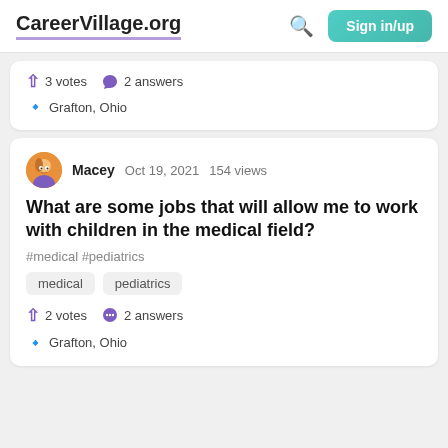CareerVillage.org | Sign in/up
↑ 3 votes  💜 2 answers
📍 Grafton, Ohio
Macey  Oct 19, 2021  154 views
What are some jobs that will allow me to work with children in the medical field?
#medical #pediatrics
medical  pediatrics
↑ 2 votes  💬 2 answers
📍 Grafton, Ohio